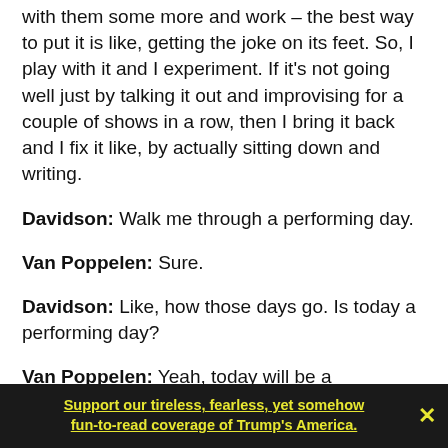with them some more and work – the best way to put it is like, getting the joke on its feet. So, I play with it and I experiment. If it's not going well just by talking it out and improvising for a couple of shows in a row, then I bring it back and I fix it like, by actually sitting down and writing.
Davidson: Walk me through a performing day.
Van Poppelen: Sure.
Davidson: Like, how those days go. Is today a performing day?
Van Poppelen: Yeah, today will be a performing day.
Support our tireless, fearless, yet somehow fun-to-read coverage of Trump's America.